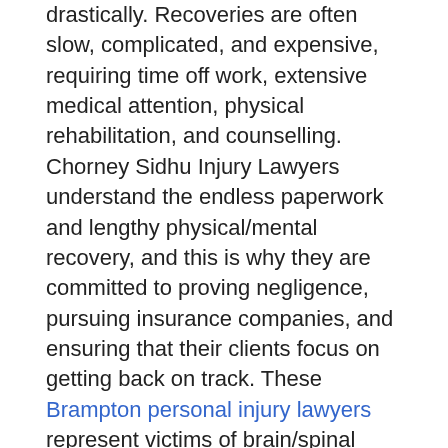drastically. Recoveries are often slow, complicated, and expensive, requiring time off work, extensive medical attention, physical rehabilitation, and counselling. Chorney Sidhu Injury Lawyers understand the endless paperwork and lengthy physical/mental recovery, and this is why they are committed to proving negligence, pursuing insurance companies, and ensuring that their clients focus on getting back on track. These Brampton personal injury lawyers represent victims of brain/spinal cord injuries, long-term disability, chronic pain, catastrophic injuries, and wrongful death.
When a loved one is the victim of nursing home neglect, family members feel guilt, especially when they are elderly, vulnerable, or sick. Acts of neglect can cause physical/mental injuries, prolonged illnesses, damaged property, and even death. The Brampton lawyers help families remove their loved ones from